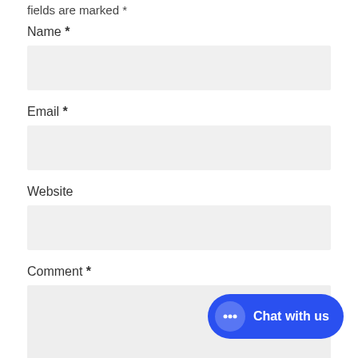fields are marked *
Name *
Email *
Website
Comment *
[Figure (screenshot): Chat with us button overlay in blue with speech bubble icon]